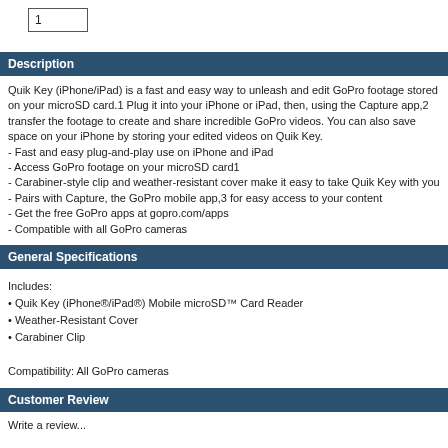1
Description
Quik Key (iPhone/iPad) is a fast and easy way to unleash and edit GoPro footage stored on your microSD card.1 Plug it into your iPhone or iPad, then, using the Capture app,2 transfer the footage to create and share incredible GoPro videos. You can also save space on your iPhone by storing your edited videos on Quik Key.
- Fast and easy plug-and-play use on iPhone and iPad
- Access GoPro footage on your microSD card1
- Carabiner-style clip and weather-resistant cover make it easy to take Quik Key with you
- Pairs with Capture, the GoPro mobile app,3 for easy access to your content
- Get the free GoPro apps at gopro.com/apps
- Compatible with all GoPro cameras
General Specifications
Includes:
• Quik Key (iPhone®/iPad®) Mobile microSD™ Card Reader
• Weather-Resistant Cover
• Carabiner Clip

Compatibility: All GoPro cameras
Customer Review
Write a review...